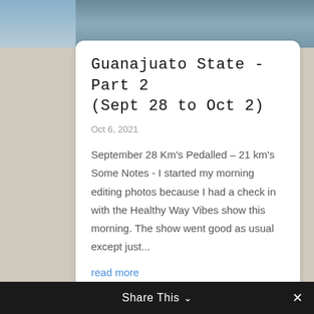[Figure (photo): Photograph of a street scene, partially visible at top of page]
Guanajuato State - Part 2 (Sept 28 to Oct 2)
Oct 6, 2021
September 28 Km's Pedalled – 21 km's Some Notes - I started my morning editing photos because I had a check in with the Healthy Way Vibes show this morning. The show went good as usual except just...
read more
Share This ∨